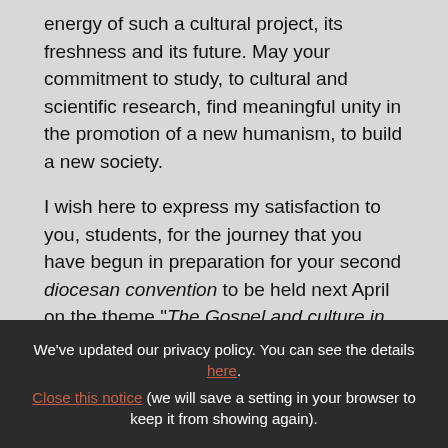energy of such a cultural project, its freshness and its future. May your commitment to study, to cultural and scientific research, find meaningful unity in the promotion of a new humanism, to build a new society.
I wish here to express my satisfaction to you, students, for the journey that you have begun in preparation for your second diocesan convention to be held next April on the theme "The Gospel and culture in the university".
We've updated our privacy policy. You can see the details here. Close this notice (we will save a setting in your browser to keep it from showing again).